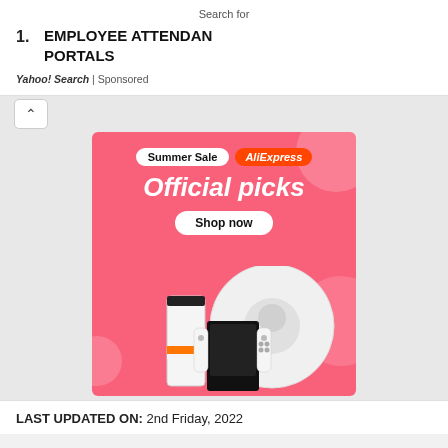Search for
1. EMPLOYEE ATTENDANCE PORTALS
Yahoo! Search | Sponsored
[Figure (illustration): AliExpress Summer Sale advertisement banner with pink background, showing 'Official picks' text, 'Shop now' button, and product images including a robot vacuum, gaming handheld device, and Nintendo Switch-style controller.]
LAST UPDATED ON: 2nd Friday, 2022